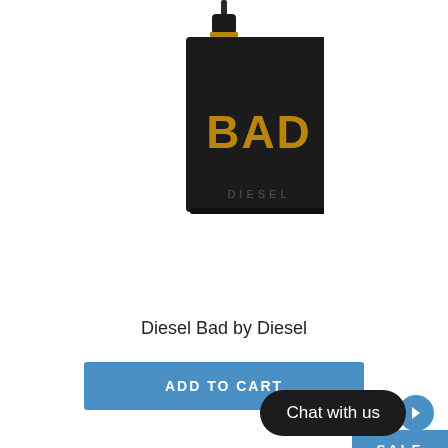[Figure (photo): Diesel Bad by Diesel cologne bottle - black textured leather-look square bottle with gold BAD lettering and thin cap]
Diesel Bad by Diesel
[Figure (other): Blue ADD TO CART button]
[Figure (other): Blue SALE badge in top right]
[Figure (photo): Diesel Instinct gift set with red box, red tube, red perfume bottle, on white background]
[Figure (other): Chat with us button overlay in dark rounded rectangle with blue arrow]